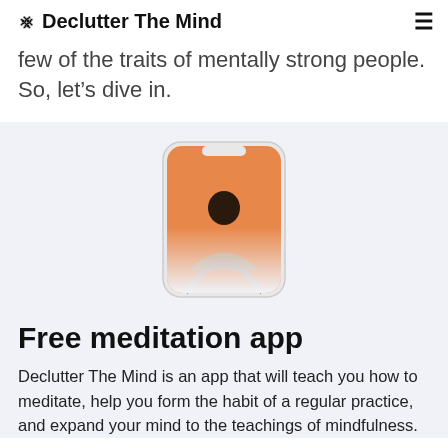⌧ Declutter The Mind
few of the traits of mentally strong people. So, let's dive in.
[Figure (illustration): A smartphone showing a person sitting in a meditative pose against an orange/warm background, displayed within a phone frame with rounded corners. The image fades at the bottom.]
Free meditation app
Declutter The Mind is an app that will teach you how to meditate, help you form the habit of a regular practice, and expand your mind to the teachings of mindfulness.